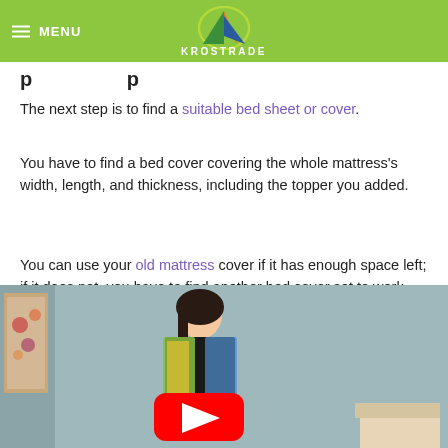MENU | KROSTRADE
The next step is to find a suitable bed sheet or cover.
You have to find a bed cover covering the whole mattress's width, length, and thickness, including the topper you added.
You can use your old mattress cover if it has enough space left; if it does not, you have to find another bed cover set to work well with the whole bed.
[Figure (screenshot): YouTube video thumbnail showing a woman in a floral jacket standing in front of a gray wall, with a YouTube play button overlay]